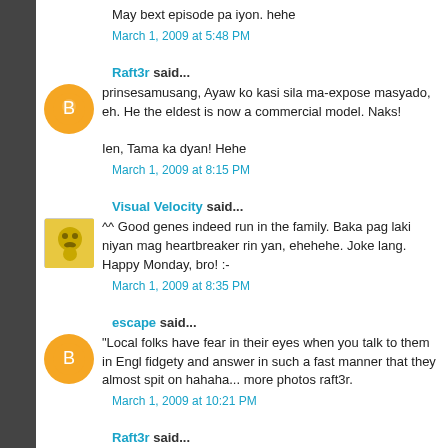May bext episode pa iyon. hehe
March 1, 2009 at 5:48 PM
Raft3r said...
prinsesamusang, Ayaw ko kasi sila ma-expose masyado, eh. He the eldest is now a commercial model. Naks!

Ien, Tama ka dyan! Hehe
March 1, 2009 at 8:15 PM
Visual Velocity said...
^^ Good genes indeed run in the family. Baka pag laki niyan mag heartbreaker rin yan, ehehehe. Joke lang. Happy Monday, bro! :-
March 1, 2009 at 8:35 PM
escape said...
"Local folks have fear in their eyes when you talk to them in Engl fidgety and answer in such a fast manner that they almost spit on hahaha... more photos raft3r.
March 1, 2009 at 10:21 PM
Raft3r said...